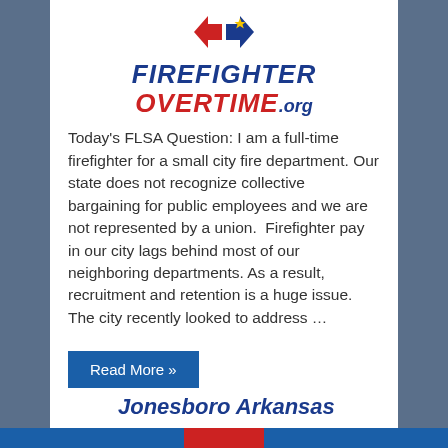[Figure (logo): FirefighterOvertime.org logo with red and blue shield/badge icon above text FIREFIGHTER OVERTIME.org]
Today's FLSA Question: I am a full-time firefighter for a small city fire department. Our state does not recognize collective bargaining for public employees and we are not represented by a union.  Firefighter pay in our city lags behind most of our neighboring departments. As a result, recruitment and retention is a huge issue. The city recently looked to address …
Read More »
Jonesboro Arkansas